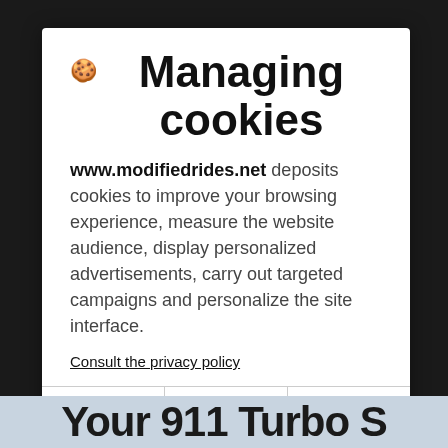Managing cookies
www.modifiedrides.net deposits cookies to improve your browsing experience, measure the website audience, display personalized advertisements, carry out targeted campaigns and personalize the site interface.
Consult the privacy policy
Refuse | Settings | Accept
Your 911 Turbo S